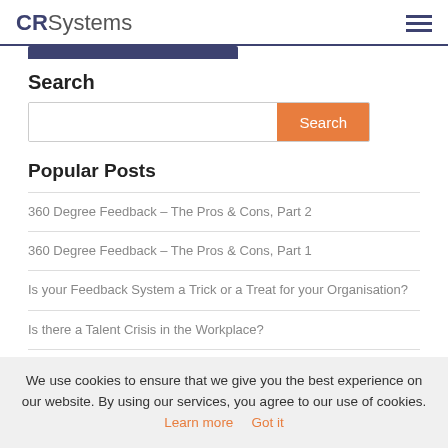CRSystems
Search
[Figure (screenshot): Search input box with orange Search button]
Popular Posts
360 Degree Feedback – The Pros & Cons, Part 2
360 Degree Feedback – The Pros & Cons, Part 1
Is your Feedback System a Trick or a Treat for your Organisation?
Is there a Talent Crisis in the Workplace?
The importance of measuring behaviour at Board level
We use cookies to ensure that we give you the best experience on our website. By using our services, you agree to our use of cookies. Learn more  Got it